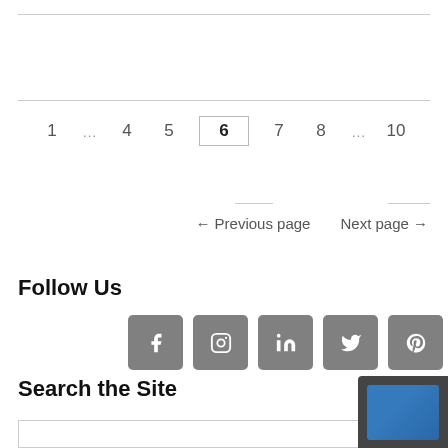1  …  4  5  6  7  8  …  10
← Previous page    Next page →
Follow Us
[Figure (other): Social media icons: Facebook, Instagram, LinkedIn, Twitter, Pinterest]
Search the Site